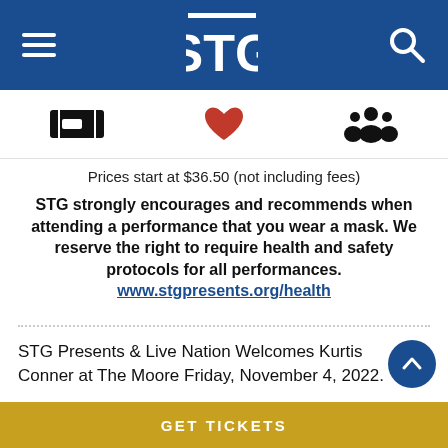STG header navigation bar
[Figure (infographic): Three icons in a row: ticket icon (left), red heart icon (center), group of people icon (right)]
Prices start at $36.50 (not including fees)
STG strongly encourages and recommends when attending a performance that you wear a mask. We reserve the right to require health and safety protocols for all performances. www.stgpresents.org/health
STG Presents & Live Nation Welcomes Kurtis Conner at The Moore Friday, November 4, 2022.
Kurtis Conner is embarking on his most ambitious
GET TICKETS